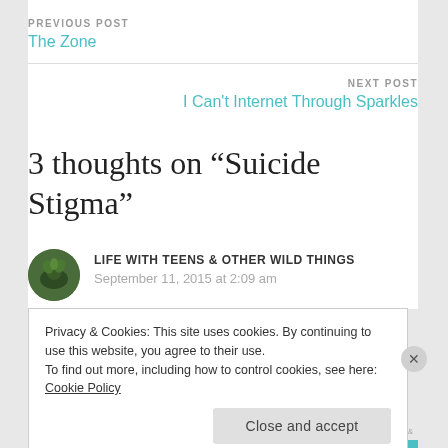PREVIOUS POST
The Zone
NEXT POST
I Can't Internet Through Sparkles
3 thoughts on “Suicide Stigma”
LIFE WITH TEENS & OTHER WILD THINGS
September 11, 2015 at 2:09 am
Privacy & Cookies: This site uses cookies. By continuing to use this website, you agree to their use.
To find out more, including how to control cookies, see here: Cookie Policy
Close and accept